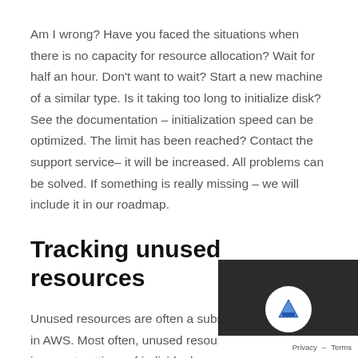Am I wrong? Have you faced the situations when there is no capacity for resource allocation? Wait for half an hour. Don't want to wait? Start a new machine of a similar type. Is it taking too long to initialize disk? See the documentation – initialization speed can be optimized. The limit has been reached? Contact the support service– it will be increased. All problems can be solved. If something is really missing – we will include it in our roadmap.
Tracking unused resources
Unused resources are often a substantial cost source in AWS. Most often, unused resources occur due to incorrect settings of individual services (for example, EBS was not deleted when you deleted the EC2 machine, because the save disk flag was set for...